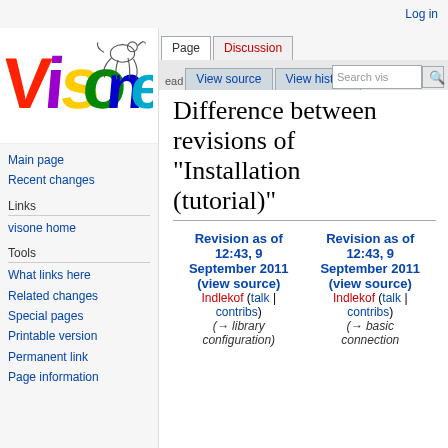Log in
[Figure (logo): visone colorful logo with stylized letters V-i-s-o-n-e and a small animal graphic]
Main page
Recent changes
Links
visone home
Tools
What links here
Related changes
Special pages
Printable version
Permanent link
Page information
Difference between revisions of "Installation (tutorial)"
| Revision as of 12:43, 9 September 2011 (view source) | Revision as of 12:43, 9 September 2011 (view source) |
| --- | --- |
| Indlekof (talk | contribs) | Indlekof (talk | contribs) |
| (→library configuration) | (→basic connection |